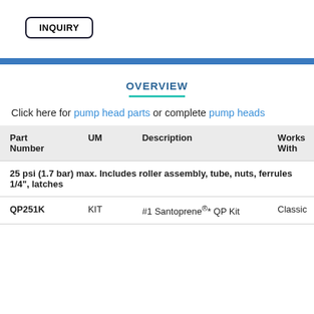INQUIRY
Click here for pump head parts or complete pump heads
| Part Number | UM | Description | Works With |
| --- | --- | --- | --- |
| 25 psi (1.7 bar) max. Includes roller assembly, tube, nuts, ferrules 1/4", latches |  |  |  |
| QP251K | KIT | #1 Santoprene®* QP Kit | Classic |